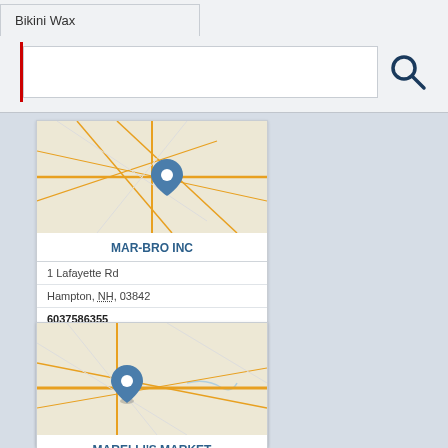Bikini Wax
[Figure (screenshot): Search input bar with red cursor and search icon]
[Figure (map): Street map thumbnail with blue location pin for MAR-BRO INC]
MAR-BRO INC
1 Lafayette Rd
Hampton, NH, 03842
6037586355
Commercial Real Estate
Duplexes
Home Rentals
Homes For Rent
House Rentals
[Figure (map): Street map thumbnail with blue location pin for MARELLI'S MARKET]
MARELLI'S MARKET
465 Lafayette Rd
Hampton, NH, 03842